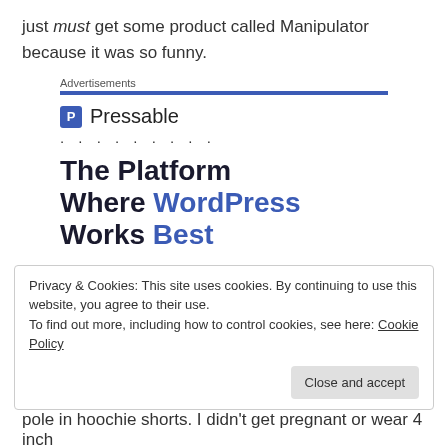just must get some product called Manipulator because it was so funny.
[Figure (other): Pressable advertisement banner with blue bar header, Pressable logo and name, dotted line, and large bold headline 'The Platform Where WordPress Works Best']
Privacy & Cookies: This site uses cookies. By continuing to use this website, you agree to their use.
To find out more, including how to control cookies, see here: Cookie Policy
pole in hoochie shorts. I didn't get pregnant or wear 4 inch